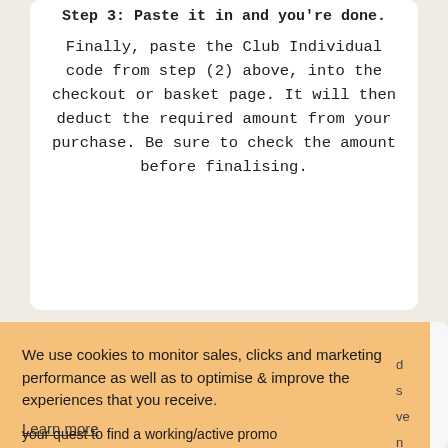Step 3: Paste it in and you're done.
Finally, paste the Club Individual code from step (2) above, into the checkout or basket page. It will then deduct the required amount from your purchase. Be sure to check the amount before finalising.
We use cookies to monitor sales, clicks and marketing performance as well as to optimise & improve the experiences that you receive.
Learn more
GOT IT!
your quest to find a working/active promo